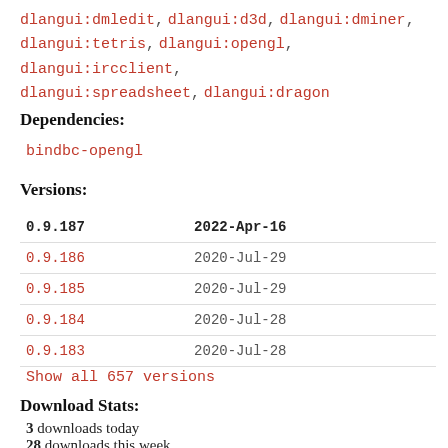dlangui:dmledit, dlangui:d3d, dlangui:dminer, dlangui:tetris, dlangui:opengl, dlangui:ircclient, dlangui:spreadsheet, dlangui:dragon
Dependencies:
bindbc-opengl
Versions:
| Version | Date |
| --- | --- |
| 0.9.187 | 2022-Apr-16 |
| 0.9.186 | 2020-Jul-29 |
| 0.9.185 | 2020-Jul-29 |
| 0.9.184 | 2020-Jul-28 |
| 0.9.183 | 2020-Jul-28 |
Show all 657 versions
Download Stats:
3 downloads today
28 downloads this week
162 downloads this month